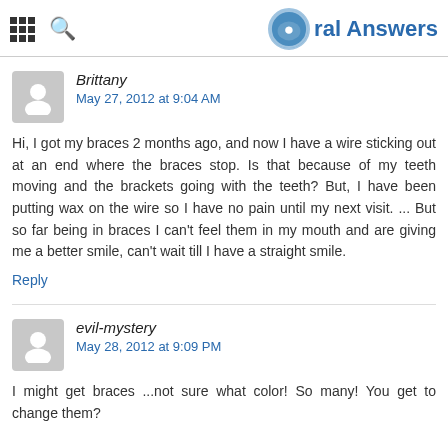Oral Answers
Brittany
May 27, 2012 at 9:04 AM
Hi, I got my braces 2 months ago, and now I have a wire sticking out at an end where the braces stop. Is that because of my teeth moving and the brackets going with the teeth? But, I have been putting wax on the wire so I have no pain until my next visit. ... But so far being in braces I can't feel them in my mouth and are giving me a better smile, can't wait till I have a straight smile.
Reply
evil-mystery
May 28, 2012 at 9:09 PM
I might get braces ...not sure what color! So many! You get to change them?